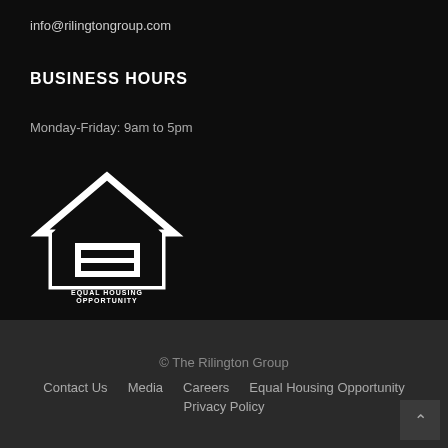info@rilingtongroup.com
BUSINESS HOURS
Monday-Friday: 9am to 5pm
[Figure (logo): Equal Housing Opportunity logo — white house outline with equal sign, text reads EQUAL HOUSING OPPORTUNITY]
© The Rilington Group
Contact Us   Media   Careers   Equal Housing Opportunity   Privacy Policy